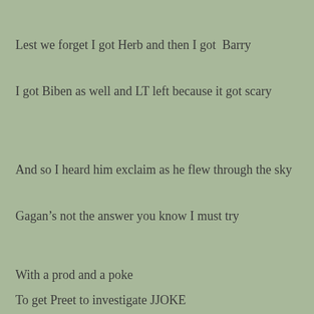Lest we forget I got Herb and then I got  Barry
I got Biben as well and LT left because it got scary
And so I heard him exclaim as he flew through the sky
Gagan's not the answer you know I must try
With a prod and a poke
To get Preet to investigate JJOKE